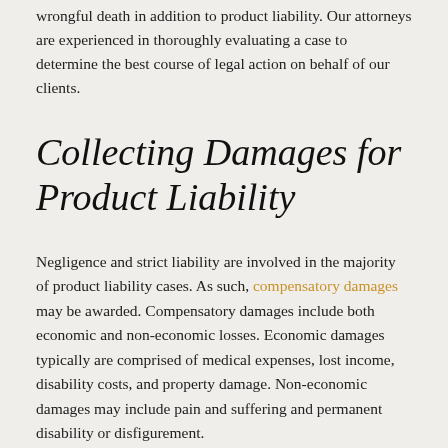wrongful death in addition to product liability. Our attorneys are experienced in thoroughly evaluating a case to determine the best course of legal action on behalf of our clients.
Collecting Damages for Product Liability
Negligence and strict liability are involved in the majority of product liability cases. As such, compensatory damages may be awarded. Compensatory damages include both economic and non-economic losses. Economic damages typically are comprised of medical expenses, lost income, disability costs, and property damage. Non-economic damages may include pain and suffering and permanent disability or disfigurement.
Punitive damages are rarely awarded in product liability cases. New Mexico law requires the claimant to prove the defendant